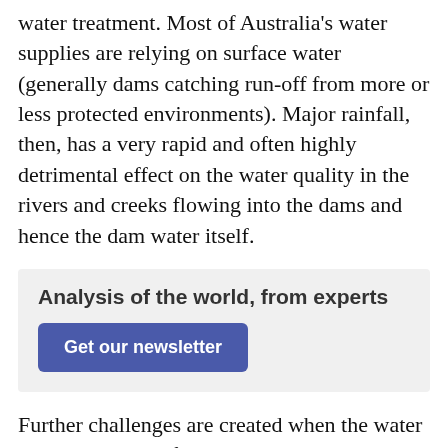water treatment. Most of Australia's water supplies are relying on surface water (generally dams catching run-off from more or less protected environments). Major rainfall, then, has a very rapid and often highly detrimental effect on the water quality in the rivers and creeks flowing into the dams and hence the dam water itself.
Analysis of the world, from experts
Get our newsletter
Further challenges are created when the water extraction points for the drinking water plants are not directly at the dam, but from rivers downstream of the dam. The direct inflows into these rivers are usually even more heavily loaded